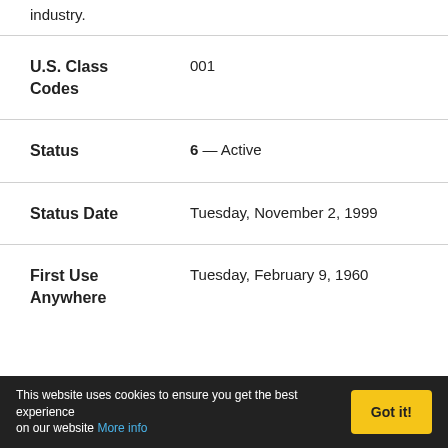industry.
| Field | Value |
| --- | --- |
| U.S. Class Codes | 001 |
| Status | 6 — Active |
| Status Date | Tuesday, November 2, 1999 |
| First Use Anywhere | Tuesday, February 9, 1960 |
This website uses cookies to ensure you get the best experience on our website More info  Got it!